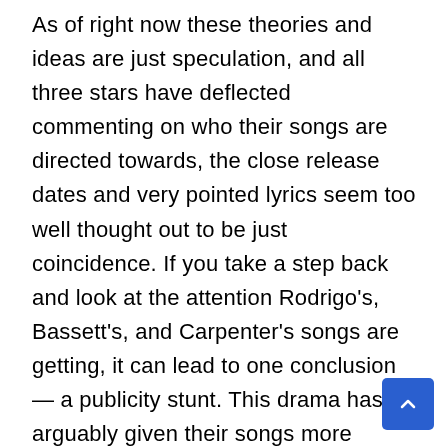As of right now these theories and ideas are just speculation, and all three stars have deflected commenting on who their songs are directed towards, the close release dates and very pointed lyrics seem too well thought out to be just coincidence. If you take a step back and look at the attention Rodrigo's, Bassett's, and Carpenter's songs are getting, it can lead to one conclusion — a publicity stunt. This drama has arguably given their songs more attention, and maybe more attention than they deserve.